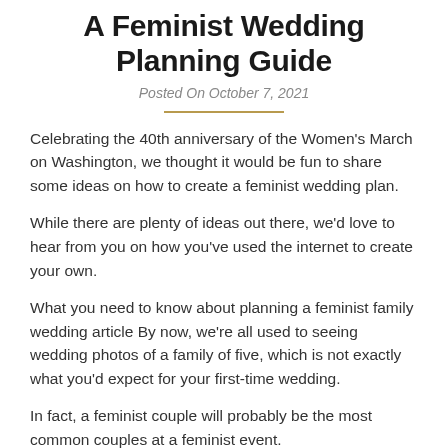A Feminist Wedding Planning Guide
Posted On October 7, 2021
Celebrating the 40th anniversary of the Women's March on Washington, we thought it would be fun to share some ideas on how to create a feminist wedding plan.
While there are plenty of ideas out there, we'd love to hear from you on how you've used the internet to create your own.
What you need to know about planning a feminist family wedding article By now, we're all used to seeing wedding photos of a family of five, which is not exactly what you'd expect for your first-time wedding.
In fact, a feminist couple will probably be the most common couples at a feminist event.